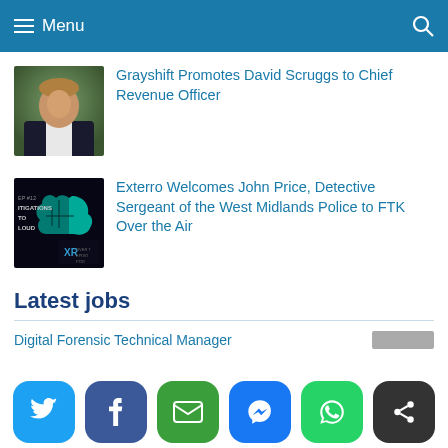Menu
[Figure (photo): Headshot of a man in a suit]
Grayshift Promotes David Scruggs to Chief Revenue Officer
[Figure (photo): Podcast episode thumbnail with dark background, teal cloud brain graphic, text reading EPISODES #12 INVESTIGATIONS TO THE CLOUD with XR logo]
Exterro Welcomes John Price, Detective Sergeant of the West Midlands Police to FTK Over the Air
Latest jobs
Digital Forensic Technical Manager